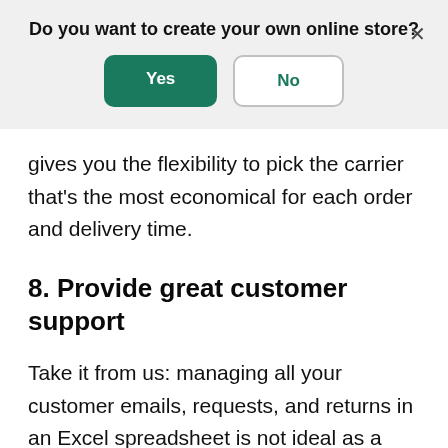Do you want to create your own online store?
Yes / No (buttons)
gives you the flexibility to pick the carrier that's the most economical for each order and delivery time.
8. Provide great customer support
Take it from us: managing all your customer emails, requests, and returns in an Excel spreadsheet is not ideal as a dropshipping store owner. Similarly, as your business and